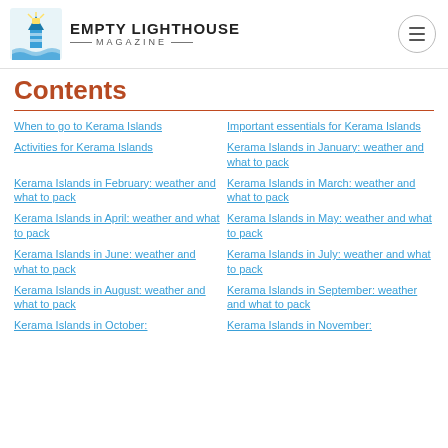Empty Lighthouse Magazine
Contents
When to go to Kerama Islands
Important essentials for Kerama Islands
Activities for Kerama Islands
Kerama Islands in January: weather and what to pack
Kerama Islands in February: weather and what to pack
Kerama Islands in March: weather and what to pack
Kerama Islands in April: weather and what to pack
Kerama Islands in May: weather and what to pack
Kerama Islands in June: weather and what to pack
Kerama Islands in July: weather and what to pack
Kerama Islands in August: weather and what to pack
Kerama Islands in September: weather and what to pack
Kerama Islands in October:
Kerama Islands in November: